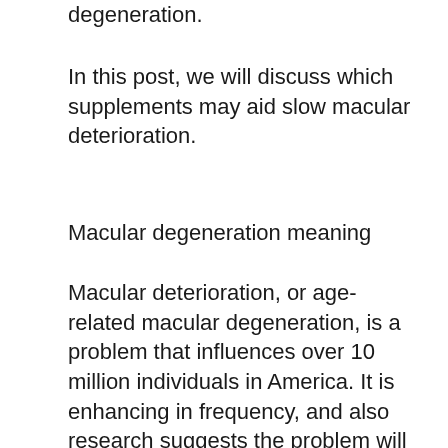degeneration.
In this post, we will discuss which supplements may aid slow macular deterioration.
Macular degeneration meaning
Macular deterioration, or age-related macular degeneration, is a problem that influences over 10 million individuals in America. It is enhancing in frequency, and also research suggests the problem will certainly influence 288 million people globally by 2040. Macular deterioration influences the retina, which is the area of the eye that videotapes what we see as well as sends out the pictures to the brain.